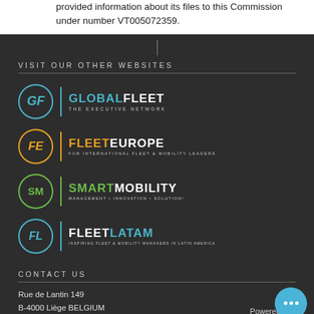provided information about its files to this Commission under number VT005072359.
VISIT OUR OTHER WEBSITES
[Figure (logo): GlobalFleet - The Executive Network logo with cyan circle and text]
[Figure (logo): FleetEurope - For International Fleet & Mobility Leaders logo with gold circle and text]
[Figure (logo): SmartMobility - Management Innovation Solution logo with green circle and text]
[Figure (logo): FleetLatam - Inspiring Fleet & Mobility Managers in Latin America logo with cyan circle and text]
CONTACT US
Rue de Lantin 149
B-4000 Liège BELGIUM
Powered By .